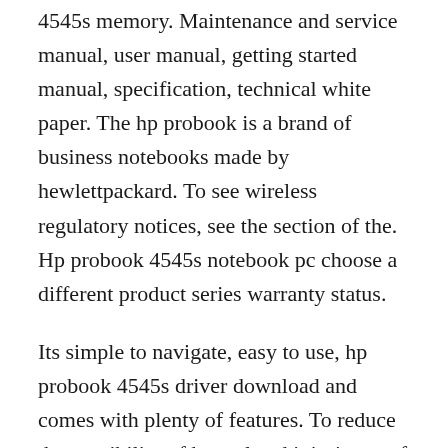4545s memory. Maintenance and service manual, user manual, getting started manual, specification, technical white paper. The hp probook is a brand of business notebooks made by hewlettpackard. To see wireless regulatory notices, see the section of the. Hp probook 4545s notebook pc choose a different product series warranty status.
Its simple to navigate, easy to use, hp probook 4545s driver download and comes with plenty of features. To reduce the possibility of heatrelated injuries or of overheating the